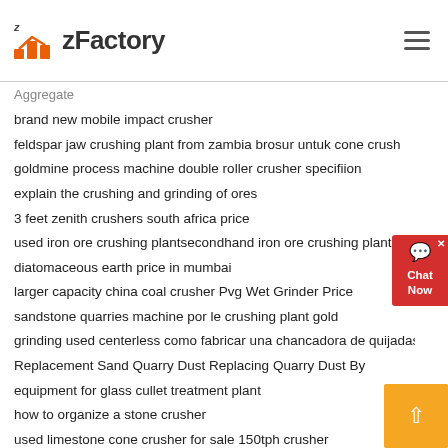zFactory
Aggregate
brand new mobile impact crusher
feldspar jaw crushing plant from zambia brosur untuk cone crush
goldmine process machine double roller crusher specifiion
explain the crushing and grinding of ores
3 feet zenith crushers south africa price
used iron ore crushing plantsecondhand iron ore crushing plant
diatomaceous earth price in mumbai
larger capacity china coal crusher Pvg Wet Grinder Price
sandstone quarries machine por le crushing plant gold
grinding used centerless como fabricar una chancadora de quijadas
Replacement Sand Quarry Dust Replacing Quarry Dust By
equipment for glass cullet treatment plant
how to organize a stone crusher
used limestone cone crusher for sale 150tph crusher
prinsip rahang crusher types of vibrating screens c tiles in johor jaya
18 inch 45cm high velocity electric fan powerful floor fan
stone crusher in jakarta jakarta raya indonesia